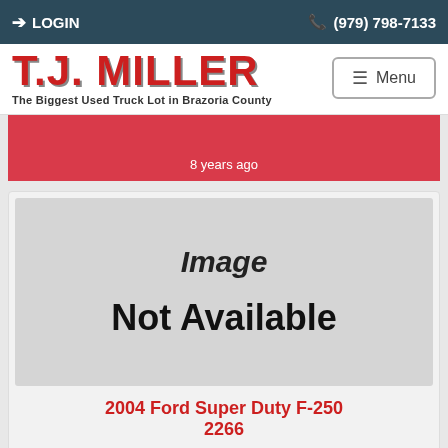LOGIN  (979) 798-7133
[Figure (logo): T.J. Miller logo - The Biggest Used Truck Lot in Brazoria County, with a Menu button]
8 years ago
[Figure (photo): Image Not Available placeholder (grey box)]
2004 Ford Super Duty F-250 2266